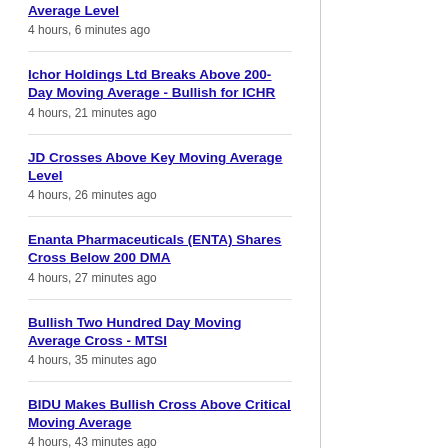Average Level
4 hours, 6 minutes ago
Ichor Holdings Ltd Breaks Above 200-Day Moving Average - Bullish for ICHR
4 hours, 21 minutes ago
JD Crosses Above Key Moving Average Level
4 hours, 26 minutes ago
Enanta Pharmaceuticals (ENTA) Shares Cross Below 200 DMA
4 hours, 27 minutes ago
Bullish Two Hundred Day Moving Average Cross - MTSI
4 hours, 35 minutes ago
BIDU Makes Bullish Cross Above Critical Moving Average
4 hours, 43 minutes ago